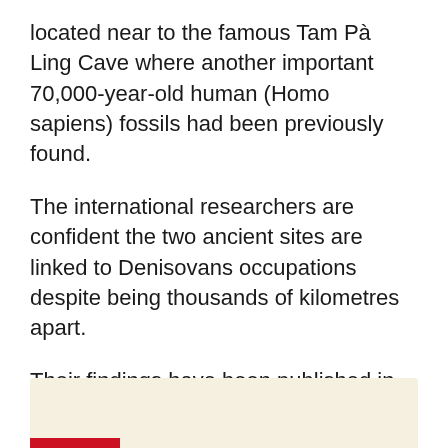located near to the famous Tam Pà Ling Cave where another important 70,000-year-old human (Homo sapiens) fossils had been previously found.
The international researchers are confident the two ancient sites are linked to Denisovans occupations despite being thousands of kilometres apart.
Their findings have been published in Nature Communications, led by The University of Copenhagen, the CNRS (France), University of Illinois Urbanna-Champain (USA), the Ministry of Information Culture and Tourism, Laos and supported by microarchaeological work undertaken at Flinders University, and geochronological analyses at Macquarie University and Southern Cross University in Australia.
[Figure (photo): Partial view of an image at the bottom of the page, appears to be a beige/cream colored background image, with a red bar accent at bottom left.]